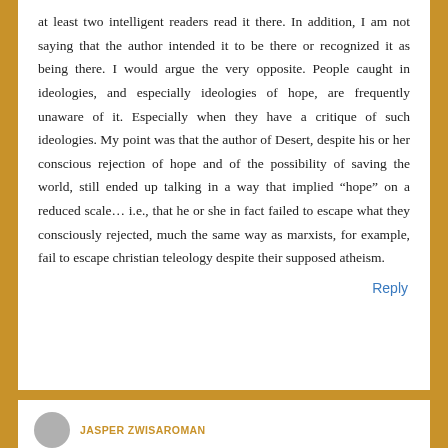at least two intelligent readers read it there. In addition, I am not saying that the author intended it to be there or recognized it as being there. I would argue the very opposite. People caught in ideologies, and especially ideologies of hope, are frequently unaware of it. Especially when they have a critique of such ideologies. My point was that the author of Desert, despite his or her conscious rejection of hope and of the possibility of saving the world, still ended up talking in a way that implied “hope” on a reduced scale… i.e., that he or she in fact failed to escape what they consciously rejected, much the same way as marxists, for example, fail to escape christian teleology despite their supposed atheism.
Reply